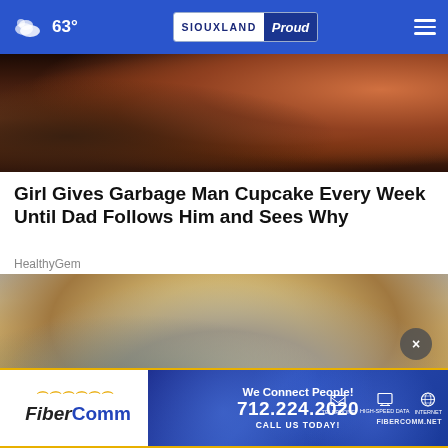63° SIOUXLAND Proud
[Figure (photo): Dark background photo showing partial face of a child with warm tones]
Girl Gives Garbage Man Cupcake Every Week Until Dad Follows Him and Sees Why
HealthyGem
[Figure (photo): Close-up portrait of a blonde woman looking forward]
[Figure (advertisement): FiberComm advertisement: We Connect People! 712.224.2020 CALL US TODAY! FIBERCOMM.NET]